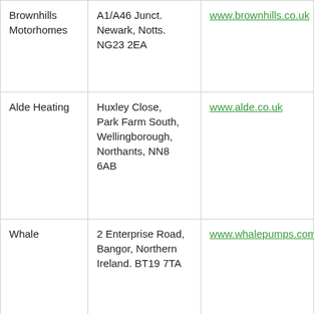| Brownhills Motorhomes | A1/A46 Junct. Newark, Notts. NG23 2EA | www.brownhills.co.uk |
| Alde Heating | Huxley Close, Park Farm South, Wellingborough, Northants, NN8 6AB | www.alde.co.uk |
| Whale | 2 Enterprise Road, Bangor, Northern Ireland. BT19 7TA | www.whalepumps.com/rv |
|  |  |  |